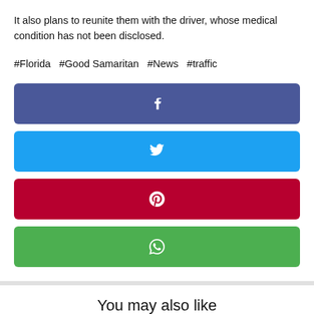It also plans to reunite them with the driver, whose medical condition has not been disclosed.
#Florida  #Good Samaritan  #News  #traffic
[Figure (infographic): Social share buttons: Facebook (blue-purple), Twitter (blue), Pinterest (red), WhatsApp (green), each with respective icon]
You may also like
General